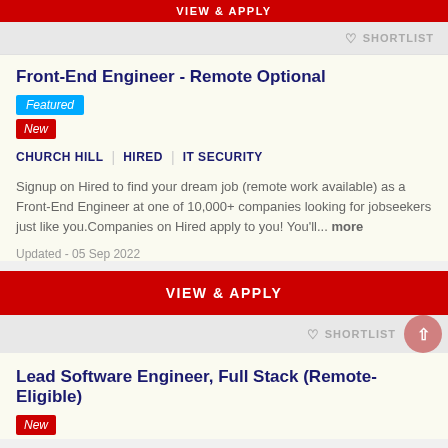VIEW & APPLY
♡ SHORTLIST
Front-End Engineer - Remote Optional
Featured
New
CHURCH HILL | HIRED | IT SECURITY
Signup on Hired to find your dream job (remote work available) as a Front-End Engineer at one of 10,000+ companies looking for jobseekers just like you.Companies on Hired apply to you! You'll... more
Updated - 05 Sep 2022
VIEW & APPLY
♡ SHORTLIST
Lead Software Engineer, Full Stack (Remote-Eligible)
New